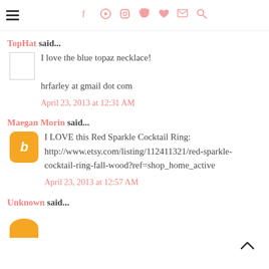Navigation header with hamburger menu and social icons
TopHat said...
I love the blue topaz necklace!

hrfarley at gmail dot com
April 23, 2013 at 12:31 AM
Maegan Morin said...
I LOVE this Red Sparkle Cocktail Ring: http://www.etsy.com/listing/112411321/red-sparkle-cocktail-ring-fall-wood?ref=shop_home_active
April 23, 2013 at 12:57 AM
Unknown said...